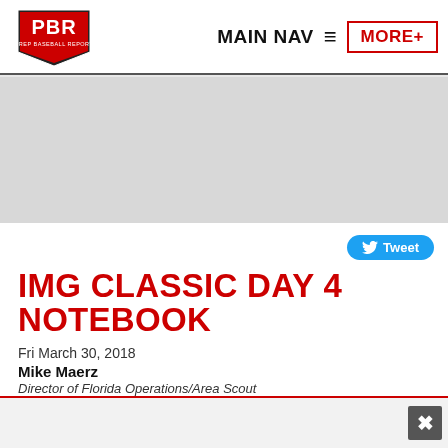PBR PREP BASEBALL REPORT | MAIN NAV | MORE+
IMG CLASSIC DAY 4 NOTEBOOK
Fri March 30, 2018
Mike Maerz
Director of Florida Operations/Area Scout